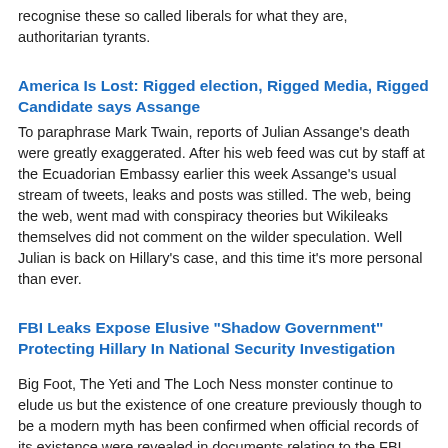recognise these so called liberals for what they are, authoritarian tyrants.
America Is Lost: Rigged election, Rigged Media, Rigged Candidate says Assange
To paraphrase Mark Twain, reports of Julian Assange's death were greatly exaggerated. After his web feed was cut by staff at the Ecuadorian Embassy earlier this week Assange's usual stream of tweets, leaks and posts was stilled. The web, being the web, went mad with conspiracy theories but Wikileaks themselves did not comment on the wilder speculation. Well Julian is back on Hillary's case, and this time it's more personal than ever.
FBI Leaks Expose Elusive "Shadow Government" Protecting Hillary In National Security Investigation
Big Foot, The Yeti and The Loch Ness monster continue to elude us but the existence of one creature previously though to be a modern myth has been confirmed when official records of its existence were revealed in documents relating to the FBI investigation into the case of former Secretary Of